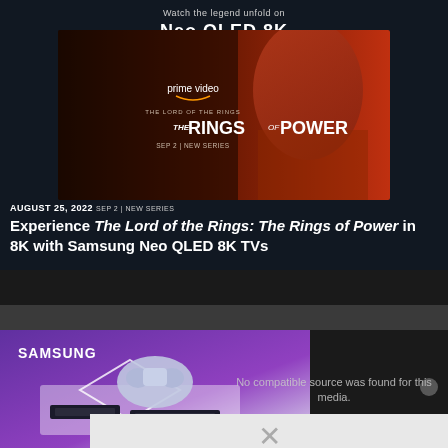Watch the legend unfold on Neo QLED 8K
[Figure (photo): Prime Video promotional banner for 'The Lord of the Rings: The Rings of Power' showing a character lit by red/orange light with show title and 'SEP 2 | NEW SERIES' date text]
AUGUST 25, 2022 SEP 2 | NEW SERIES
Experience The Lord of the Rings: The Rings of Power in 8K with Samsung Neo QLED 8K TVs
[Figure (photo): Samsung advertisement showing a PS5 DualSense controller, Samsung NVMe SSD drives on a purple/white background with SAMSUNG logo]
No compatible source was found for this media.